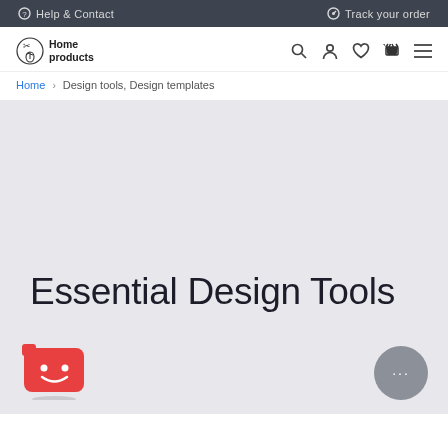Help & Contact   Track your order
[Figure (logo): Home products logo with scissors/plant icon and text 'Home products']
Home > Design tools, Design templates
Essential Design Tools
[Figure (illustration): Red chat bot icon (smiling face on red card/badge shape) at bottom left]
[Figure (illustration): Gray circular FAB button with ellipsis (...) at bottom right]